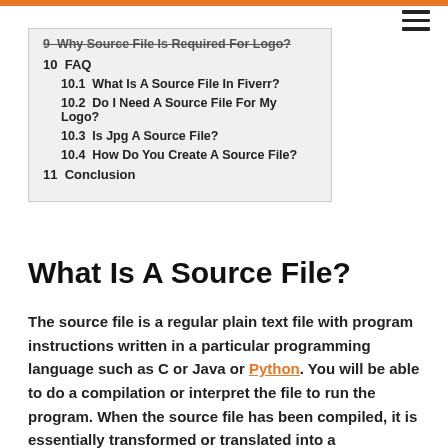9  Why Source File Is Required For Logo?
10  FAQ
10.1  What Is A Source File In Fiverr?
10.2  Do I Need A Source File For My Logo?
10.3  Is Jpg A Source File?
10.4  How Do You Create A Source File?
11  Conclusion
What Is A Source File?
The source file is a regular plain text file with program instructions written in a particular programming language such as C or Java or Python. You will be able to do a compilation or interpret the file to run the program. When the source file has been compiled, it is essentially transformed or translated into a